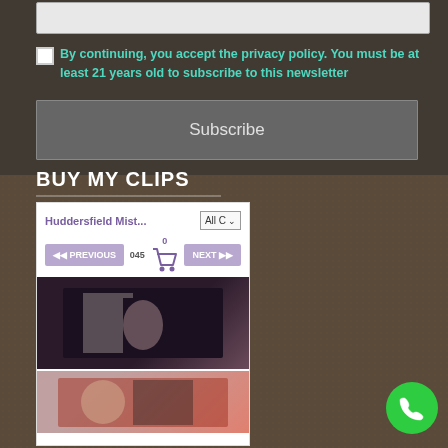By continuing, you accept the privacy policy. You must be at least 21 years old to subscribe to this newsletter
Subscribe
BUY MY CLIPS
[Figure (screenshot): Clip store widget showing store name 'Huddersfield Mist...', a dropdown 'All C', navigation with PREVIOUS and NEXT buttons, page count '045', cart icon with 0 items, and two video thumbnail images below.]